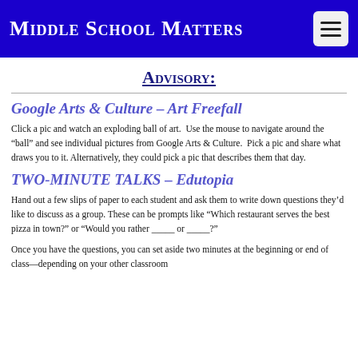Middle School Matters
Advisory:
Google Arts & Culture – Art Freefall
Click a pic and watch an exploding ball of art.  Use the mouse to navigate around the “ball” and see individual pictures from Google Arts & Culture.  Pick a pic and share what draws you to it. Alternatively, they could pick a pic that describes them that day.
TWO-MINUTE TALKS – Edutopia
Hand out a few slips of paper to each student and ask them to write down questions they’d like to discuss as a group. These can be prompts like “Which restaurant serves the best pizza in town?” or “Would you rather _____ or _____?”
Once you have the questions, you can set aside two minutes at the beginning or end of class—depending on your other classroom